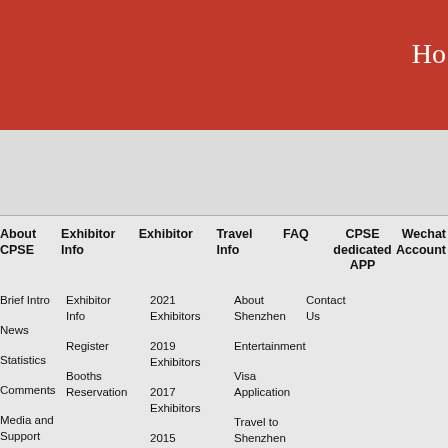Ho
About CPSE
Exhibitor Info
Exhibitor
Travel Info
FAQ
CPSE dedicated APP
Wechat Account
Brief Intro
Exhibitor Info
2021 Exhibitors
About Shenzhen
Contact Us
News
Register
2019 Exhibitors
Entertainment
Statistics
Booths Reservation
2017 Exhibitors
Visa Application
Comments
2015 Exhibitors
Travel to Shenzhen
Media and Support
2013 Exhibitors
Hotel
History